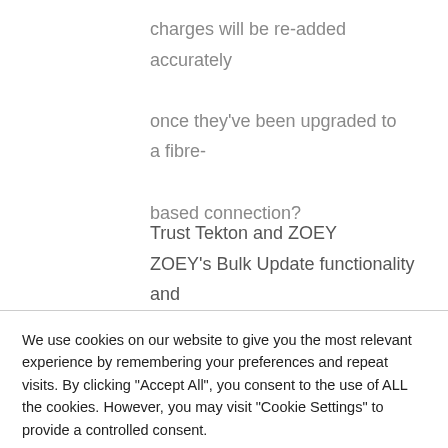charges will be re-added accurately once they've been upgraded to a fibre-based connection?
Trust Tekton and ZOEY
ZOEY's Bulk Update functionality and
Margin Analysis suite, combined with
We use cookies on our website to give you the most relevant experience by remembering your preferences and repeat visits. By clicking "Accept All", you consent to the use of ALL the cookies. However, you may visit "Cookie Settings" to provide a controlled consent.
Cookie Settings
Accept All